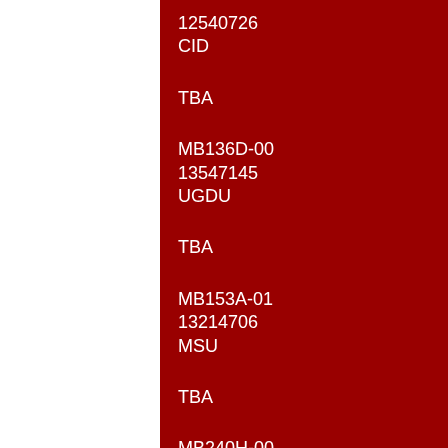12540726
CID
TBA
MB136D-00
13547145
UGDU
TBA
MB153A-01
13214706
MSU
TBA
MB240H-00
--
NIGHT HUD (HDTS)
TBA